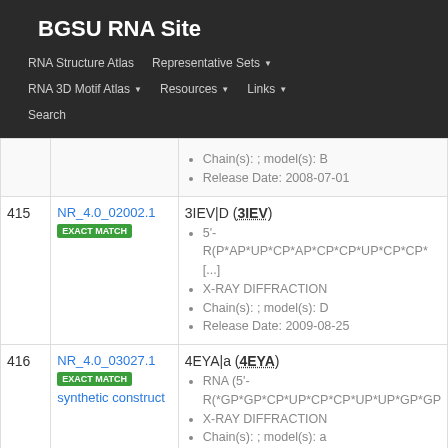BGSU RNA Site
RNA Structure Atlas | Representative Sets | RNA 3D Motif Atlas | Resources | Links | Search
| # | ID | Details |
| --- | --- | --- |
|  |  | Chain(s): ; model(s): B
Release Date: 2008-07-01 |
| 415 | NR_4.0_02002.1 [EXACT MATCH] | 3IEV|D (3IEV)
5'-R(P*AP*UP*CP*AP*CP*CP*UP*CP*CP*[...]
X-RAY DIFFRACTION
Chain(s): ; model(s): D
Release Date: 2009-08-25 |
| 416 | NR_4.0_03027.1 [EXACT MATCH] synthetic construct | 4EYA|a (4EYA)
RNA (5'-R(*GP*GP*CP*UP*CP*CP*UP*UP*GP*GP...
X-RAY DIFFRACTION
Chain(s): ; model(s): a |